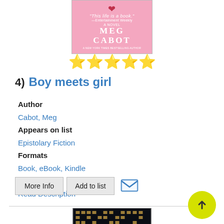[Figure (photo): Book cover for 'Boy meets girl' by Meg Cabot — pink background with heart keychain]
[Figure (other): Five yellow star rating]
4)  Boy meets girl
Author
Cabot, Meg
Appears on list
Epistolary Fiction
Formats
Book, eBook, Kindle
Description
Read Description
More Info   Add to list   [mail icon]
[Figure (photo): Book cover showing night cityscape with illuminated windows and two silhouetted figures]